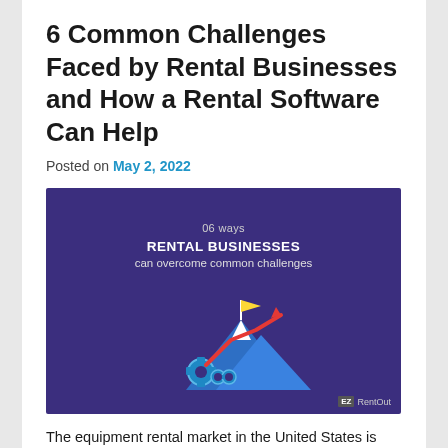6 Common Challenges Faced by Rental Businesses and How a Rental Software Can Help
Posted on May 2, 2022
[Figure (illustration): Dark purple banner image with text '06 ways RENTAL BUSINESSES can overcome common challenges' and an illustration of a mountain with a red upward arrow, gear icons, and a yellow flag. EzRentOut logo in bottom right corner.]
The equipment rental market in the United States is expected to grow to $57.5 billion by the end of 2024. This means rental businesses can expect an increase in